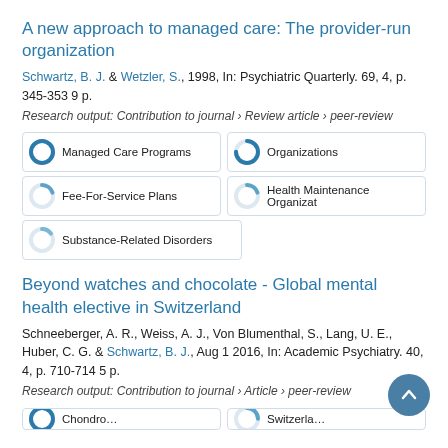A new approach to managed care: The provider-run organization
Schwartz, B. J. & Wetzler, S., 1998, In: Psychiatric Quarterly. 69, 4, p. 345-353 9 p.
Research output: Contribution to journal › Review article › peer-review
[Figure (infographic): Five keyword badges with donut-style icons: Managed Care Programs (100%), Organizations (75%), Fee-For-Service Plans (20%), Health Maintenance Organizat (20%), Substance-Related Disorders (15%)]
Beyond watches and chocolate - Global mental health elective in Switzerland
Schneeberger, A. R., Weiss, A. J., Von Blumenthal, S., Lang, U. E., Huber, C. G. & Schwartz, B. J., Aug 1 2016, In: Academic Psychiatry. 40, 4, p. 710-714 5 p.
Research output: Contribution to journal › Article › peer-review
[Figure (infographic): Partially visible keyword badges at bottom of page (cut off)]